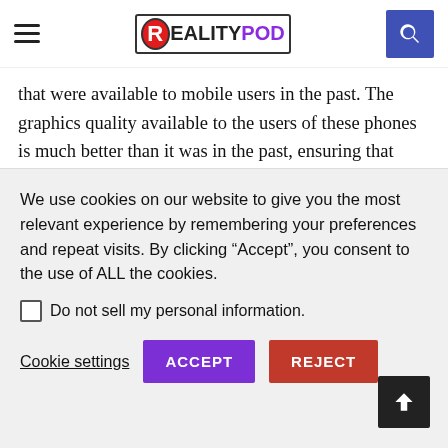RealityPod
that were available to mobile users in the past. The graphics quality available to the users of these phones is much better than it was in the past, ensuring that those playing online games on an Android phone can enjoy a far more realistic, immersive experience, that more closely replicates that of playing at a computer, than ever before. Of course, although the quality of the gaming experience on an Android phone is much better than it was with older
We use cookies on our website to give you the most relevant experience by remembering your preferences and repeat visits. By clicking “Accept”, you consent to the use of ALL the cookies.
Do not sell my personal information.
Cookie settings  ACCEPT  REJECT